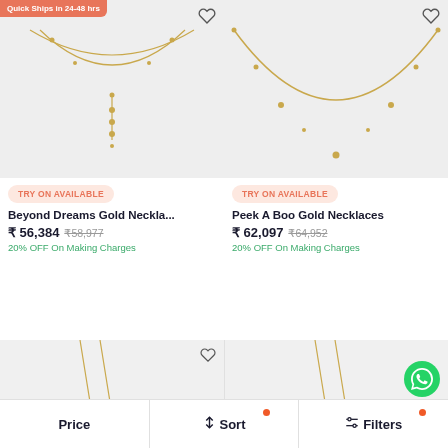[Figure (photo): Gold layered necklace product image with Quick Ships badge]
[Figure (photo): Gold chain necklace with beads product image]
TRY ON AVAILABLE
TRY ON AVAILABLE
Beyond Dreams Gold Neckla...
Peek A Boo Gold Necklaces
₹ 56,384  ₹58,977
₹ 62,097  ₹64,952
20% OFF On Making Charges
20% OFF On Making Charges
[Figure (photo): Gold necklace partial view bottom left]
[Figure (photo): Gold necklace partial view bottom right with WhatsApp button]
Price
↑↓ Sort
Filters